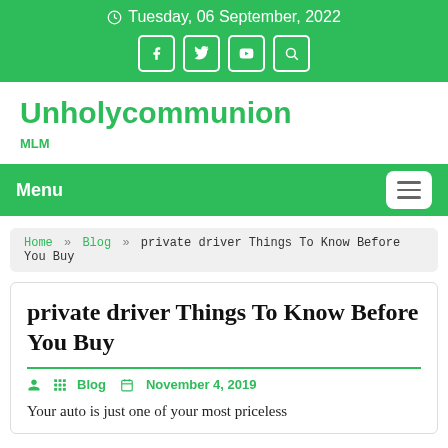Tuesday, 06 September, 2022
Unholycommunion
MLM
Menu
Home » Blog » private driver Things To Know Before You Buy
private driver Things To Know Before You Buy
Blog  November 4, 2019
Your auto is just one of your most priceless